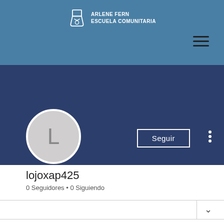[Figure (logo): Arlene Fern Escuela Comunitaria logo with white icon and text on blue banner]
ARLENE FERN
ESCUELA COMUNITARIA
[Figure (screenshot): Mobile app profile page with dark blue header, circular avatar with letter L, Seguir button, and three-dot menu]
lojoxap425
0 Seguidores • 0 Siguiendo
Perfil